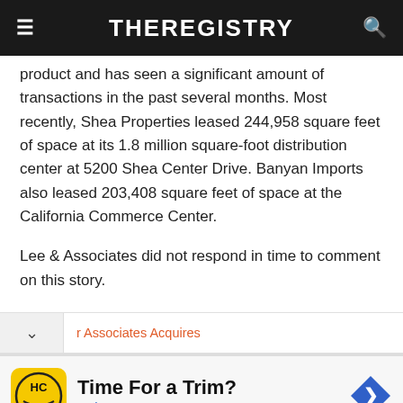THEREGISTRY
product and has seen a significant amount of transactions in the past several months. Most recently, Shea Properties leased 244,958 square feet of space at its 1.8 million square-foot distribution center at 5200 Shea Center Drive. Banyan Imports also leased 203,408 square feet of space at the California Commerce Center.
Lee & Associates did not respond in time to comment on this story.
r Associates Acquires
[Figure (other): Advertisement for Hair Cuttery: 'Time For a Trim?' with HC logo and navigation arrow icon]